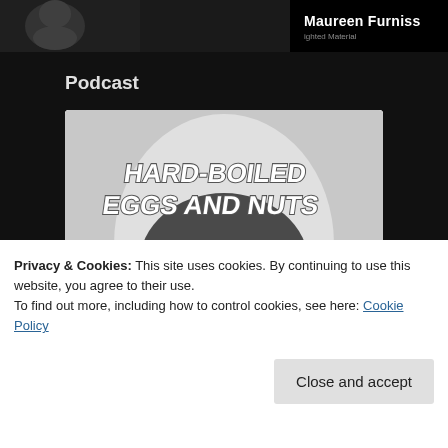[Figure (screenshot): Top banner showing a book cover image on the left (black and white face/illustration) with 'Maureen Furniss' text and copyright notice on a dark background.]
Podcast
[Figure (illustration): Podcast artwork for 'Hard-Boiled Eggs and Nuts' featuring bold stylized text over an egg-shaped background with two men in bowler hats (Laurel and Hardy style), black and white image.]
Privacy & Cookies: This site uses cookies. By continuing to use this website, you agree to their use.
To find out more, including how to control cookies, see here: Cookie Policy
Close and accept